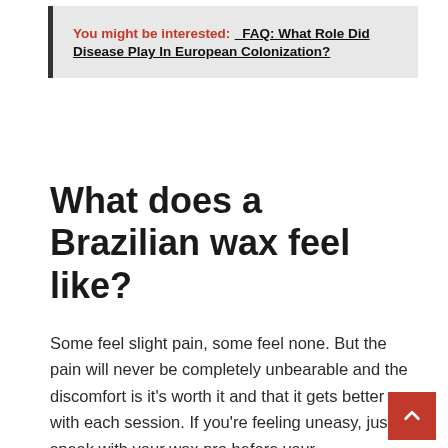You might be interested:  FAQ: What Role Did Disease Play In European Colonization?
What does a Brazilian wax feel like?
Some feel slight pain, some feel none. But the pain will never be completely unbearable and the discomfort is it's worth it and that it gets better with each session. If you're feeling uneasy, just speak with your wax pro before your appointment and she will provide you with a complete education on